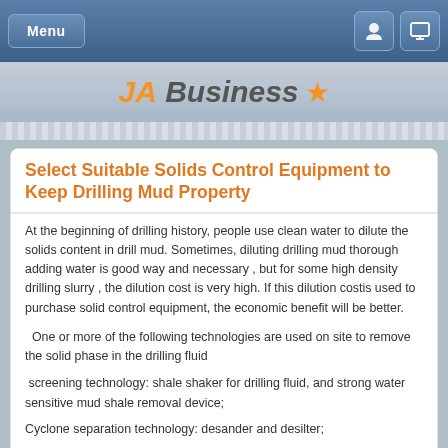Menu
[Figure (logo): JA Business logo with orange star]
Select Suitable Solids Control Equipment to Keep Drilling Mud Property
At the beginning of drilling history, people use clean water to dilute the solids content in drill mud. Sometimes, diluting drilling mud thorough adding water is good way and necessary , but for some high density drilling slurry , the dilution cost is very high. If this dilution costis used to purchase solid control equipment, the economic benefit will be better.
One or more of the following technologies are used on site to remove the solid phase in the drilling fluid
screening technology: shale shaker for drilling fluid, and strong water sensitive mud shale removal device;
Cyclone separation technology: desander and desilter;
Centrifugal separation technology: coarse mesh and sedimentation centrifuge;
Gravity sedimentation technology: sedimentation tank and dewatering device.